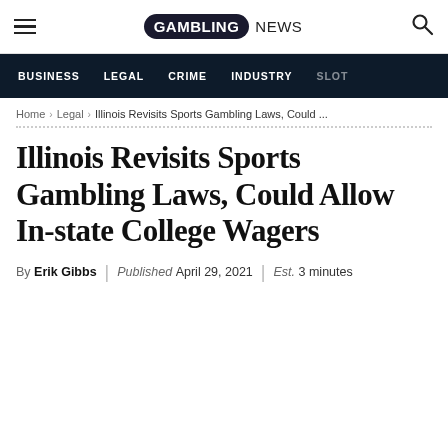GAMBLING NEWS
BUSINESS | LEGAL | CRIME | INDUSTRY | SLOT
Home > Legal > Illinois Revisits Sports Gambling Laws, Could ...
Illinois Revisits Sports Gambling Laws, Could Allow In-state College Wagers
By Erik Gibbs | Published April 29, 2021 | Est. 3 minutes